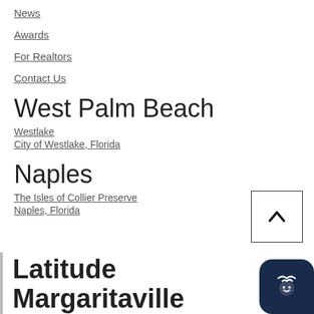News
Awards
For Realtors
Contact Us
West Palm Beach
Westlake
City of Westlake, Florida
Naples
The Isles of Collier Preserve
Naples, Florida
Latitude Margaritaville